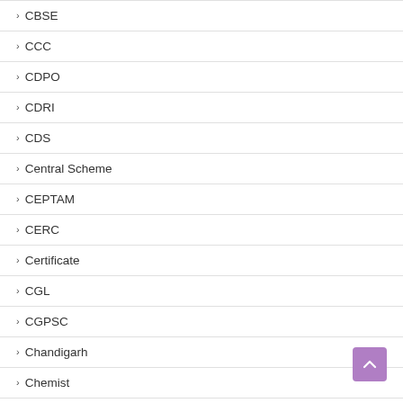CBSE
CCC
CDPO
CDRI
CDS
Central Scheme
CEPTAM
CERC
Certificate
CGL
CGPSC
Chandigarh
Chemist
Chhattisgarh
CHO